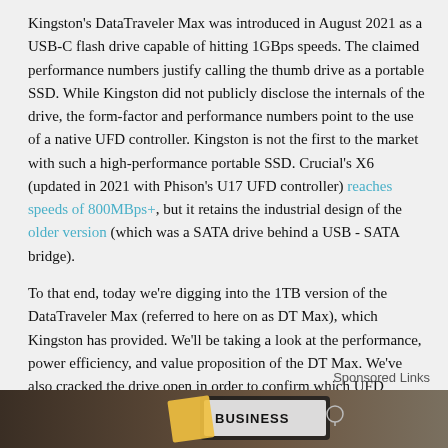Kingston's DataTraveler Max was introduced in August 2021 as a USB-C flash drive capable of hitting 1GBps speeds. The claimed performance numbers justify calling the thumb drive as a portable SSD. While Kingston did not publicly disclose the internals of the drive, the form-factor and performance numbers point to the use of a native UFD controller. Kingston is not the first to the market with such a high-performance portable SSD. Crucial's X6 (updated in 2021 with Phison's U17 UFD controller) reaches speeds of 800MBps+, but it retains the industrial design of the older version (which was a SATA drive behind a USB - SATA bridge).
To that end, today we're digging into the 1TB version of the DataTraveler Max (referred to here on as DT Max), which Kingston has provided. We'll be taking a look at the performance, power efficiency, and value proposition of the DT Max. We've also cracked the drive open in order to confirm which UFD controller Kingston is using.
Sponsored Links
[Figure (photo): Advertisement banner showing a laptop with a sticky note and the word BUSINESS visible]